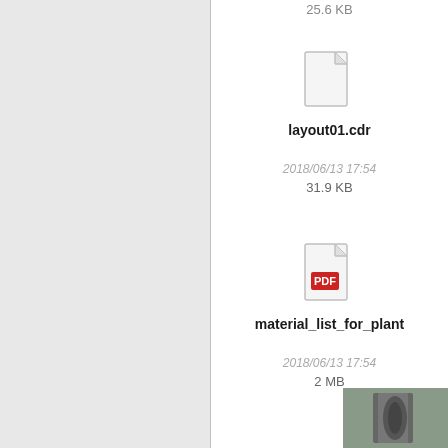25.6 KB
[Figure (illustration): Generic file icon (blank document) for layout01.cdr]
layout01.cdr
2018/06/13 17:54
31.9 KB
[Figure (illustration): PDF file icon for material_list_for_plant...]
material_list_for_plant
2018/06/13 17:54
2 MB
[Figure (photo): Partial thumbnail image visible at bottom right corner]